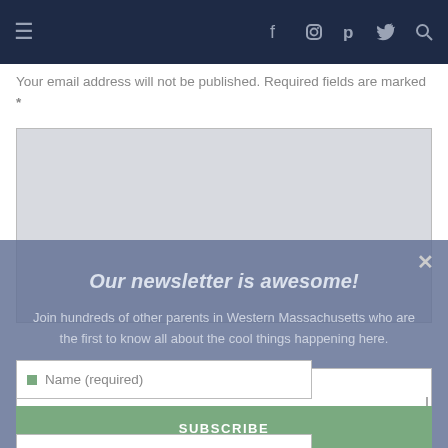Navigation bar with hamburger menu and social icons: Facebook, Instagram, Pinterest, Twitter, Search
Your email address will not be published. Required fields are marked *
[Figure (screenshot): Large comment text area input field, gray background]
Our newsletter is awesome!
Join hundreds of other parents in Western Massachusetts who are the first to know all about the cool things happening here.
[Figure (screenshot): Email input field with placeholder text 'Email']
[Figure (screenshot): Name (required) input field]
[Figure (screenshot): SUBSCRIBE button in green]
[Figure (screenshot): Bottom input field, partially visible]